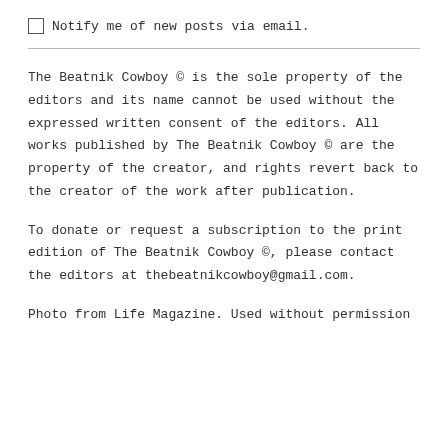Notify me of new posts via email.
The Beatnik Cowboy © is the sole property of the editors and its name cannot be used without the expressed written consent of the editors. All works published by The Beatnik Cowboy © are the property of the creator, and rights revert back to the creator of the work after publication.
To donate or request a subscription to the print edition of The Beatnik Cowboy ©, please contact the editors at thebeatnikcowboy@gmail.com.
Photo from Life Magazine. Used without permission